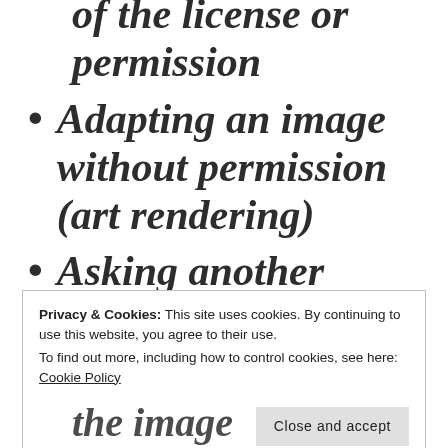of the license or permission
Adapting an image without permission (art rendering)
Asking another
Privacy & Cookies: This site uses cookies. By continuing to use this website, you agree to their use. To find out more, including how to control cookies, see here: Cookie Policy
the image